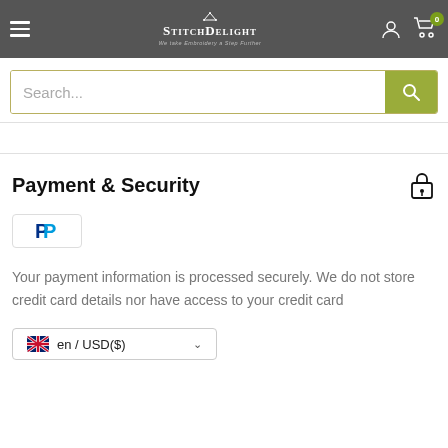StitchDelight — We take Embroidery a Step Further
[Figure (screenshot): Search bar with olive/yellow-green search button and magnifying glass icon]
Payment & Security
[Figure (logo): PayPal logo button]
Your payment information is processed securely. We do not store credit card details nor have access to your credit card
en / USD($)